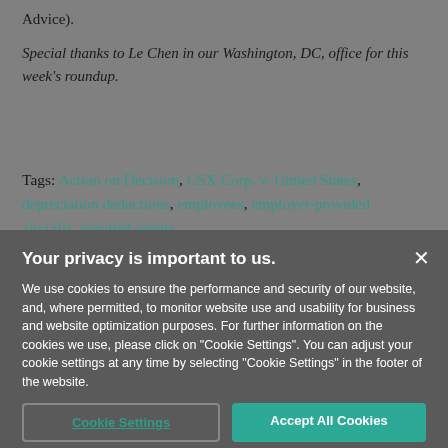Advice).
Special thanks to Le Chen in our Washington, DC, office for this week's roundup.
Tags: Action on Decision, CSX Corp. v. United States, depreciation deductions, employees, employer-provided aircrafts, enrolled agents.
Your privacy is important to us.
We use cookies to ensure the performance and security of our website, and, where permitted, to monitor website use and usability for business and website optimization purposes. For further information on the cookies we use, please click on "Cookie Settings". You can adjust your cookie settings at any time by selecting "Cookie Settings" in the footer of the website.
Cookie Settings   Accept All Cookies